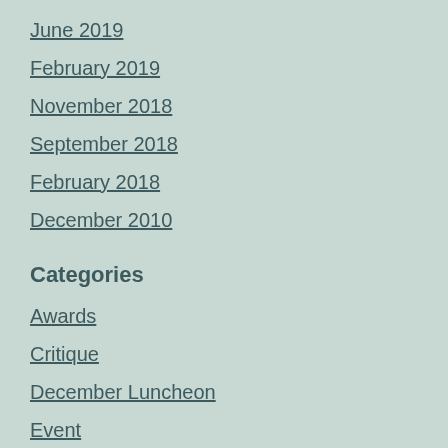June 2019
February 2019
November 2018
September 2018
February 2018
December 2010
Categories
Awards
Critique
December Luncheon
Event
Founders Award